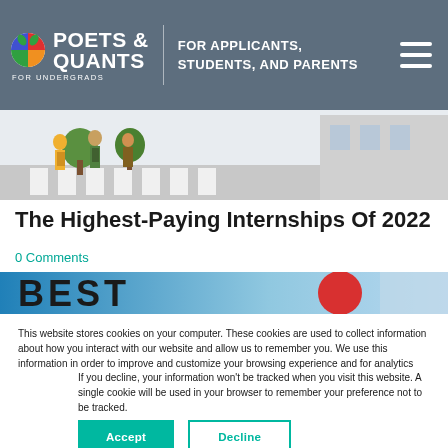POETS & QUANTS FOR UNDERGRADS — FOR APPLICANTS, STUDENTS, AND PARENTS
[Figure (illustration): Illustrated scene of students walking on a crosswalk/path with backpacks, colorful cartoon style]
The Highest-Paying Internships Of 2022
0 Comments
[Figure (screenshot): Partial view of a blue banner with bold text 'BEST' and a red circular element, appearing to be a website/article image]
This website stores cookies on your computer. These cookies are used to collect information about how you interact with our website and allow us to remember you. We use this information in order to improve and customize your browsing experience and for analytics and metrics about our visitors both on this website and other media. To find out more about the cookies we use, see our Privacy Policy.
If you decline, your information won't be tracked when you visit this website. A single cookie will be used in your browser to remember your preference not to be tracked.